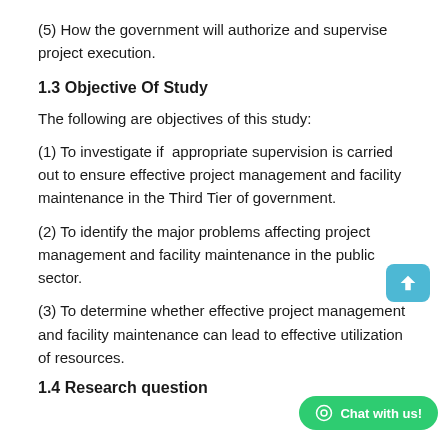(5) How the government will authorize and supervise project execution.
1.3 Objective Of Study
The following are objectives of this study:
(1) To investigate if appropriate supervision is carried out to ensure effective project management and facility maintenance in the Third Tier of government.
(2) To identify the major problems affecting project management and facility maintenance in the public sector.
(3) To determine whether effective project management and facility maintenance can lead to effective utilization of resources.
1.4 Research question